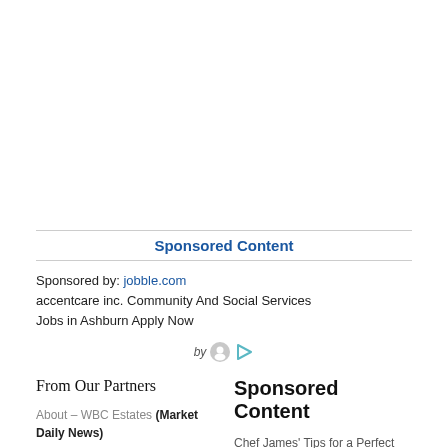Sponsored Content
Sponsored by: jobble.com
accentcare inc. Community And Social Services Jobs in Ashburn Apply Now
by
From Our Partners
Sponsored Content
About – WBC Estates (Market Daily News)
Chef James' Tips for a Perfect Beach BBQ (BELatina News)
Following Politics: Discover